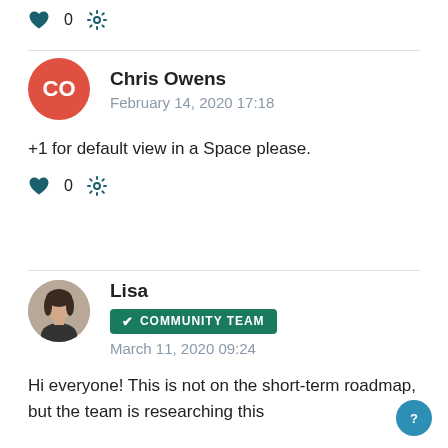[Figure (infographic): Heart icon with count 0 and gear/settings icon — top action row]
Chris Owens
February 14, 2020 17:18
+1 for default view in a Space please.
[Figure (infographic): Heart icon with count 0 and gear/settings icon — bottom action row for first comment]
Lisa
✔ COMMUNITY TEAM
March 11, 2020 09:24
Hi everyone! This is not on the short-term roadmap, but the team is researching this